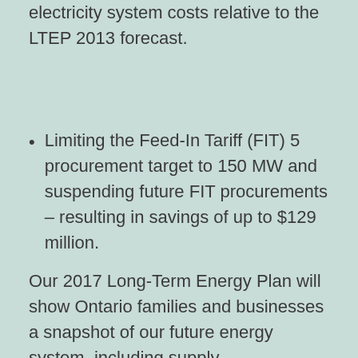electricity system costs relative to the LTEP 2013 forecast.
Limiting the Feed-In Tariff (FIT) 5 procurement target to 150 MW and suspending future FIT procurements – resulting in savings of up to $129 million.
Our 2017 Long-Term Energy Plan will show Ontario families and businesses a snapshot of our future energy system, including supply,